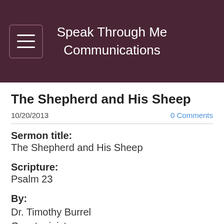Speak Through Me Communications
The Shepherd and His Sheep
10/20/2013   0 Comments
Sermon title:
The Shepherd and His Sheep
Scripture:
Psalm 23
By:
Dr. Timothy Burrel
Guest minister
Key point:
"Bond with Jesus"